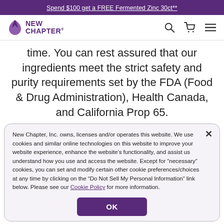Spend $100 get a FREE Fermented Zinc 30ct**
[Figure (logo): New Chapter logo with purple leaf and brand name]
time. You can rest assured that our ingredients meet the strict safety and purity requirements set by the FDA (Food & Drug Administration), Health Canada, and California Prop 65.
New Chapter, Inc. owns, licenses and/or operates this website. We use cookies and similar online technologies on this website to improve your website experience, enhance the website’s functionality, and assist us understand how you use and access the website. Except for “necessary” cookies, you can set and modify certain other cookie preferences/choices at any time by clicking on the “Do Not Sell My Personal Information” link below. Please see our Cookie Policy for more information.
OK
Add To Cart